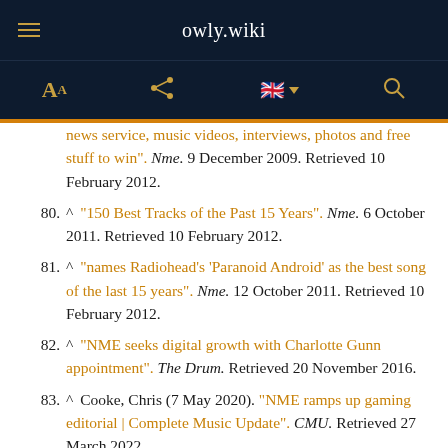owly.wiki
news service, music videos, interviews, photos and free stuff to win". Nme. 9 December 2009. Retrieved 10 February 2012.
80. ^ "150 Best Tracks of the Past 15 Years". Nme. 6 October 2011. Retrieved 10 February 2012.
81. ^ "names Radiohead's 'Paranoid Android' as the best song of the last 15 years". Nme. 12 October 2011. Retrieved 10 February 2012.
82. ^ "NME seeks digital growth with Charlotte Gunn appointment". The Drum. Retrieved 20 November 2016.
83. ^ Cooke, Chris (7 May 2020). "NME ramps up gaming editorial | Complete Music Update". CMU. Retrieved 27 March 2022.